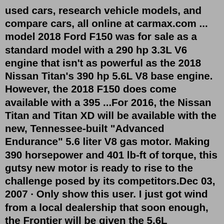used cars, research vehicle models, and compare cars, all online at carmax.com ... model 2018 Ford F150 was for sale as a standard model with a 290 hp 3.3L V6 engine that isn't as powerful as the 2018 Nissan Titan's 390 hp 5.6L V8 base engine. However, the 2018 F150 does come available with a 395 ...For 2016, the Nissan Titan and Titan XD will be available with the new, Tennessee-built "Advanced Endurance" 5.6 liter V8 gas motor. Making 390 horsepower and 401 lb-ft of torque, this gutsy new motor is ready to rise to the challenge posed by its competitors.Dec 03, 2007 · Only show this user. I just got wind from a local dealership that soon enough, the Frontier will be given the 5.6L Endurance V8! I was speechless when I heard this...I know that the new Pathfinder has the 5.6L but I never thought that Nissan would actually do it to the Fronty! I thought Nissan was FAR to loyal to their 24 valve V6 to switch to ... Nissan's Endurance 5.6-liter V-8 develops 317 horsepower and 385 pounds-feet of torque, a 12-hp increase over last year's model. The engine comes with a five-speed a